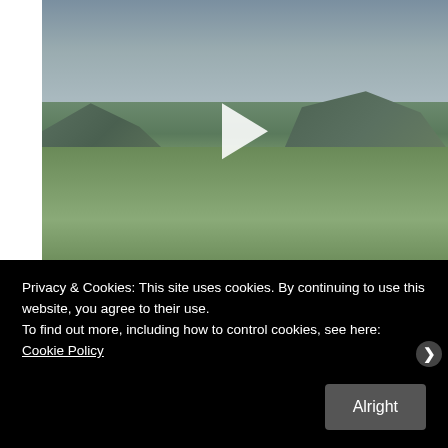[Figure (photo): A video thumbnail of a Scottish highland landscape with green rolling hills, mountains in the background, cloudy grey sky, and a white play button overlay in the center.]
Privacy & Cookies: This site uses cookies. By continuing to use this website, you agree to their use.
To find out more, including how to control cookies, see here: Cookie Policy

Alright